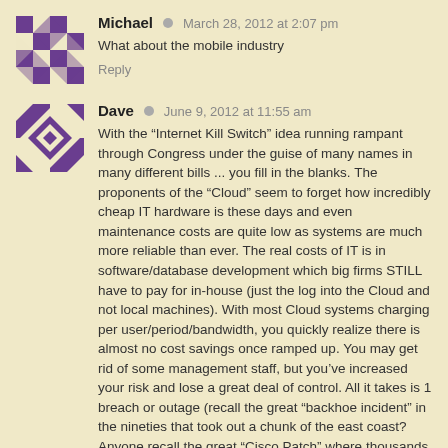[Figure (illustration): Purple and white geometric checkerboard/diamond pattern avatar for user Michael]
Michael  March 28, 2012 at 2:07 pm
What about the mobile industry
Reply
[Figure (illustration): Purple and white geometric checkerboard/diamond pattern avatar for user Dave]
Dave  June 9, 2012 at 11:55 am
With the “Internet Kill Switch” idea running rampant through Congress under the guise of many names in many different bills ... you fill in the blanks. The proponents of the “Cloud” seem to forget how incredibly cheap IT hardware is these days and even maintenance costs are quite low as systems are much more reliable than ever. The real costs of IT is in software/database development which big firms STILL have to pay for in-house (just the log into the Cloud and not local machines). With most Cloud systems charging per user/period/bandwidth, you quickly realize there is almost no cost savings once ramped up. You may get rid of some management staff, but you’ve increased your risk and lose a great deal of control. All it takes is 1 breach or outage (recall the great “backhoe incident” in the nineties that took out a chunk of the east coast? Anyone recall the great “Cisco Patch” where thousands of routers simultaneously upgraded their